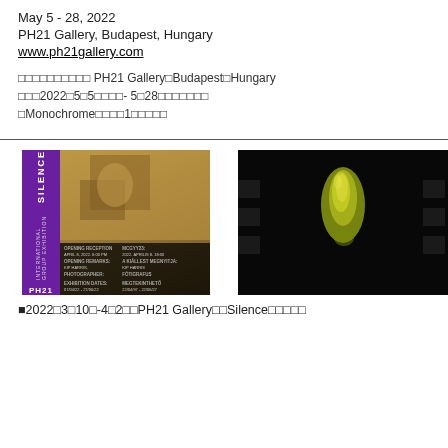May 5 - 28, 2022
PH21 Gallery, Budapest, Hungary
www.ph21gallery.com
󿿿󿿿󿿿󿿿󿿿󿿿󿿿󿿿󿿿󿿿 PH21 Gallery󿿿Budapest󿿿Hungary
󿿿󿿿󿿿2022󿿿5󿿿5󿿿󿿿󿿿- 5󿿿28󿿿󿿿󿿿󿿿󿿿󿿿
󿿿Monochrome󿿿󿿿󿿿󿿿1󿿿󿿿󿿿󿿿󿿿
[Figure (photo): Exhibition poster for SILENCE International Group Exhibition at PH21 Gallery with purple sidebar and exhibition details]
[Figure (photo): Dark photograph showing a yellow/green illuminated figure or form against a black background]
■2022󿿿3󿿿10󿿿-4󿿿2󿿿󿿿PH21 Gallery󿿿󿿿Silence󿿿󿿿󿿿󿿿󿿿